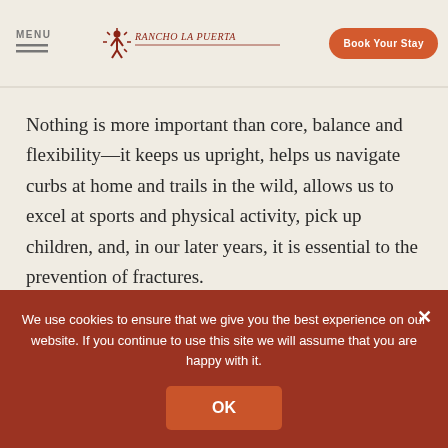MENU | Rancho La Puerta | Book Your Stay
Nothing is more important than core, balance and flexibility—it keeps us upright, helps us navigate curbs at home and trails in the wild, allows us to excel at sports and physical activity, pick up children, and, in our later years, it is essential to the prevention of fractures.
view more examples →
We use cookies to ensure that we give you the best experience on our website. If you continue to use this site we will assume that you are happy with it.